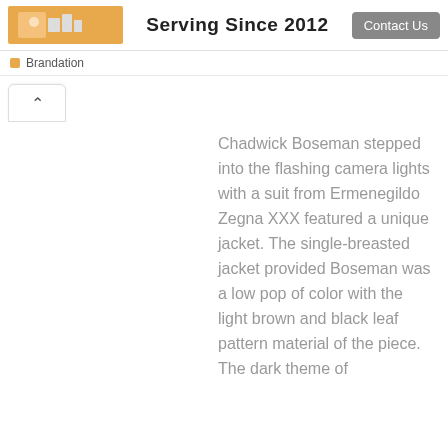Serving Since 2012
Brandation
Chadwick Boseman stepped into the flashing camera lights with a suit from Ermenegildo Zegna XXX featured a unique jacket. The single-breasted jacket provided Boseman was a low pop of color with the light brown and black leaf pattern material of the piece. The dark theme of